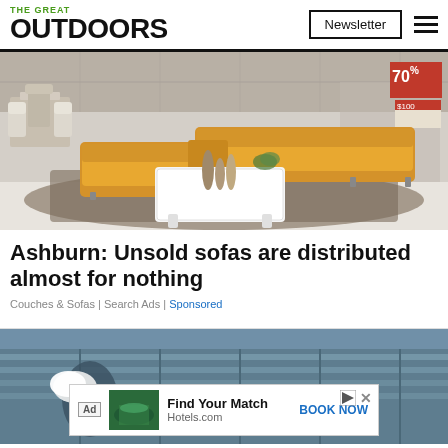THE GREAT OUTDOORS | Newsletter
[Figure (photo): Furniture showroom with yellow/mustard leather sectional sofa, white coffee table with decorative vases, dining tables and chairs in background, 70% sale sign visible in upper right]
Ashburn: Unsold sofas are distributed almost for nothing
Couches & Sofas | Search Ads | Sponsored
[Figure (photo): Outdoor scene with person holding white bag, blurred building/glass structure in background, with Hotels.com advertisement overlay: 'Find Your Match' BOOK NOW]
Ad | Find Your Match | Hotels.com | BOOK NOW